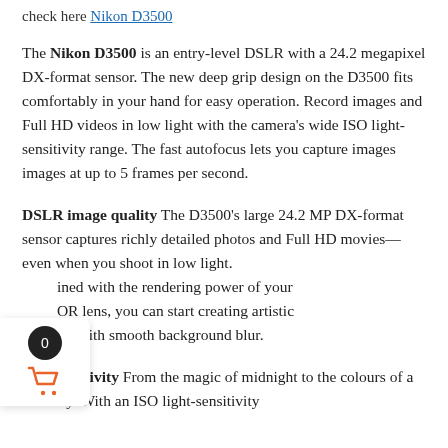check here Nikon D3500
The Nikon D3500 is an entry-level DSLR with a 24.2 megapixel DX-format sensor. The new deep grip design on the D3500 fits comfortably in your hand for easy operation. Record images and Full HD videos in low light with the camera’s wide ISO light-sensitivity range. The fast autofocus lets you capture images images at up to 5 frames per second.
DSLR image quality The D3500’s large 24.2 MP DX-format sensor captures richly detailed photos and Full HD movies—even when you shoot in low light. [Combined] with the rendering power of your [NIKK]OR lens, you can start creating artistic portraits with smooth background blur.
ISO sensitivity From the magic of midnight to the colours of a new day. With an ISO light-sensitivity